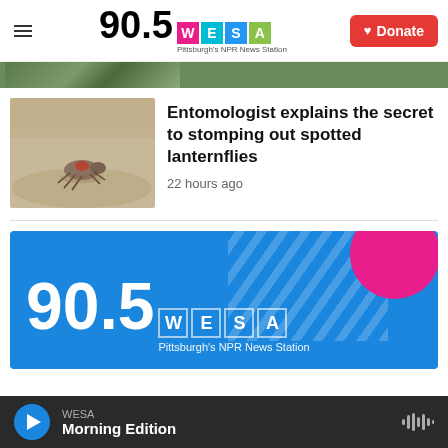90.5 WESA — Pittsburgh's NPR News Station | Donate
[Figure (photo): Partial image of green foliage/plants, cropped at top]
[Figure (photo): Close-up photo of a spotted lanternfly insect on a sandy surface]
Entomologist explains the secret to stomping out spotted lanternflies
22 hours ago
[Figure (logo): 90.5 WESA Pittsburgh's NPR News Station banner ad on blue background with decorative stripes and pink circle]
WESA Morning Edition